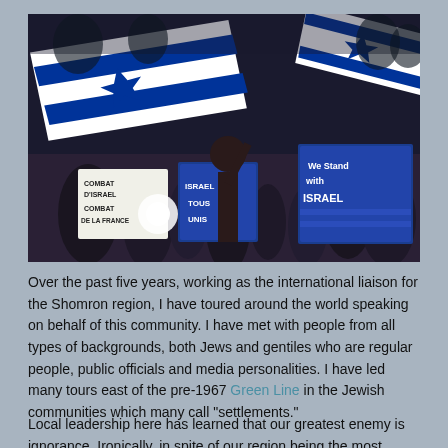[Figure (photo): Crowd of protesters waving Israeli flags and holding signs including 'Combat d'Israel Combat de la France', 'Israel Tous Unis', and 'We Stand with Israel']
Over the past five years, working as the international liaison for the Shomron region, I have toured around the world speaking on behalf of this community. I have met with people from all types of backgrounds, both Jews and gentiles who are regular people, public officials and media personalities. I have led many tours east of the pre-1967 Green Line in the Jewish communities which many call "settlements."
Local leadership here has learned that our greatest enemy is ignorance. Ironically, in spite of our region being the most